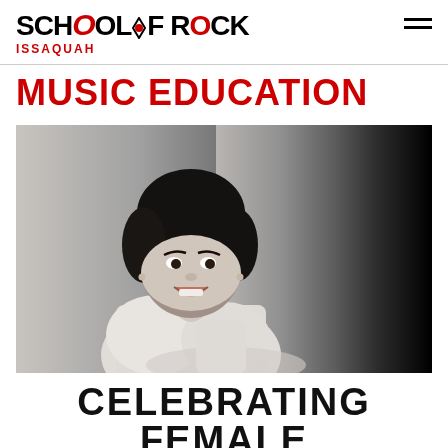School of Rock ISSAQUAH
MUSIC EDUCATION
[Figure (photo): Black and white photo of a smiling woman with a large dark bouffant hairstyle, wearing a white jacket, leaning on a dark surface. The right side of the image fades to black.]
CELEBRATING FEMALE